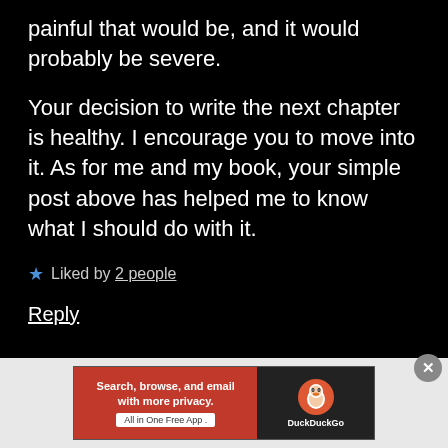painful that would be, and it would probably be severe.
Your decision to write the next chapter is healthy. I encourage you to move into it. As for me and my book, your simple post above has helped me to know what I should do with it.
★ Liked by 2 people
Reply
[Figure (screenshot): DuckDuckGo advertisement banner: red left section with text 'Search, browse, and email with more privacy. All in One Free App', dark right section with DuckDuckGo logo and name.]